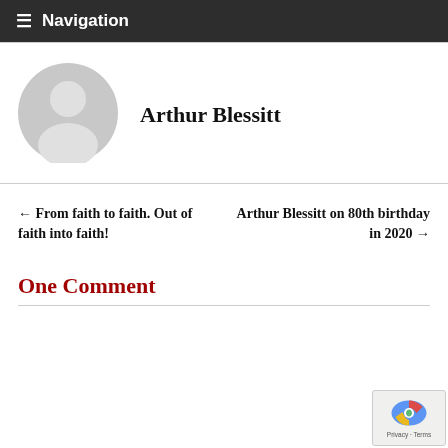≡ Navigation
[Figure (illustration): Default user avatar — grey circle with silhouette of a person (head and shoulders)]
Arthur Blessitt
← From faith to faith. Out of faith into faith!
Arthur Blessitt on 80th birthday in 2020 →
One Comment